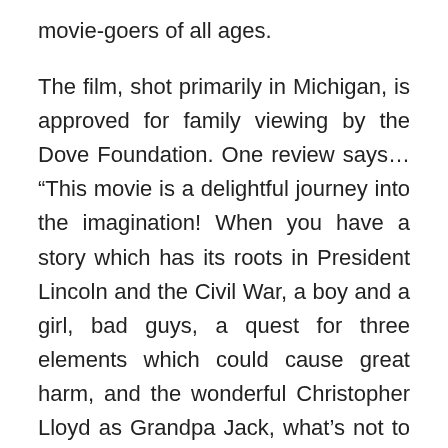movie-goers of all ages.
The film, shot primarily in Michigan, is approved for family viewing by the Dove Foundation. One review says… “This movie is a delightful journey into the imagination! When you have a story which has its roots in President Lincoln and the Civil War, a boy and a girl, bad guys, a quest for three elements which could cause great harm, and the wonderful Christopher Lloyd as Grandpa Jack, what’s not to like?”
Want to see how we made premiere night